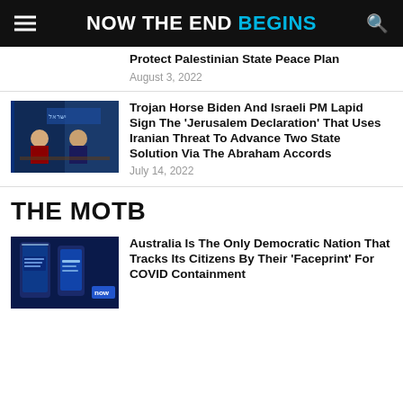NOW THE END BEGINS
Protect Palestinian State Peace Plan
August 3, 2022
Trojan Horse Biden And Israeli PM Lapid Sign The 'Jerusalem Declaration' That Uses Iranian Threat To Advance Two State Solution Via The Abraham Accords
July 14, 2022
THE MOTB
Australia Is The Only Democratic Nation That Tracks Its Citizens By Their 'Faceprint' For COVID Containment